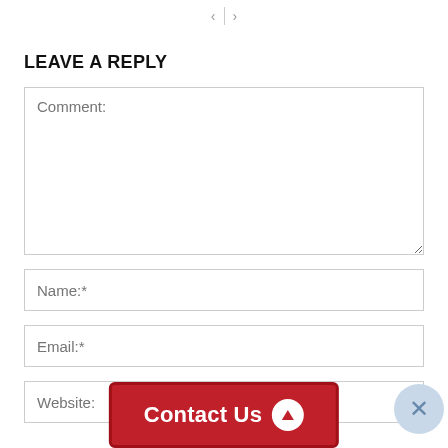< | >
LEAVE A REPLY
Comment:
Name:*
Email:*
Website:
[Figure (other): Red 'Contact Us' button with white text and a white circle containing an upward-pointing red triangle arrow, and a light blue circular close (X) button overlapping the bottom-right corner]